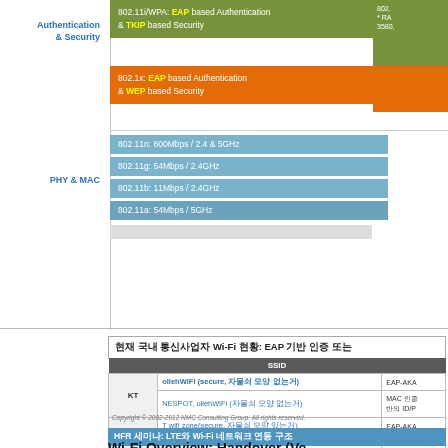|  | Authentication & Security (802.11i/WPA) |  |
| --- | --- | --- |
| Authentication & Security | 802.11i/WPA: EAP based Authentication & TKIP based Security | 802.1x: EAP based Authentication & WEP based Security |
| PHY & MAC | 802.11n: 600Mbps / 2.4 & 5GHz |  |
|  | 802.11g: 54Mbps / 2.4GHz |  |
|  | 802.11b: 11Mbps / 2.4GHz |  |
|  | 802.11a: 54Mbps / 5GHz |  |
현재 국내 통신사업자 Wi-Fi 현황: EAP 기반 인증 또는
|  | SSID |  |
| --- | --- | --- |
| KT | ollehWiFi (secure, 자물쇠 모양 없는거) | EAP-AKA |
| KT | NESPOT, ollehWiFi (자물쇠 모양 없는거) | MAC 인증 반의 ID/P |
| SKT | T wifi zone(secure, 자물쇠 모양 있는거) | EAP-AKA |
| SKT | T wifi zone(자물쇠 모양 없는거) | MAC 인증 |
| LG U+ | U+ zone(secure, 자물쇠 모양 있는거) | MSCHAPv |
| LG U+ | FREE U+ zone(자물쇠 모양 없는거) | 무인증 (공 |
Copyright © 2002-2012 NMC Consulting Group. All rights reserved.
HFR 세미나: LTE와 Wi-Fi 네트워크 연동 구조
Wi-Fi Overview: Handover (Ve